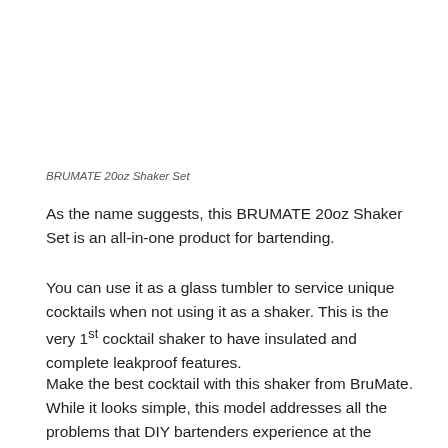BRUMATE 20oz Shaker Set
As the name suggests, this BRUMATE 20oz Shaker Set is an all-in-one product for bartending.
You can use it as a glass tumbler to service unique cocktails when not using it as a shaker. This is the very 1st cocktail shaker to have insulated and complete leakproof features.
Make the best cocktail with this shaker from BruMate. While it looks simple, this model addresses all the problems that DIY bartenders experience at the house.